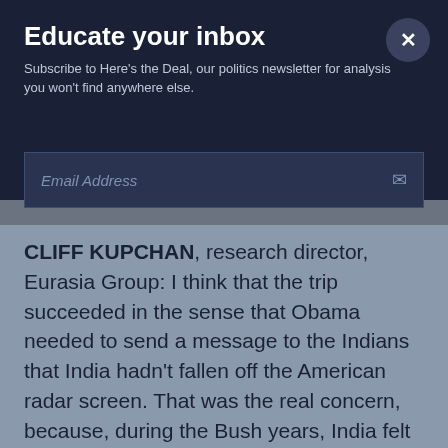Educate your inbox
Subscribe to Here's the Deal, our politics newsletter for analysis you won't find anywhere else.
Email Address
CLIFF KUPCHAN, research director, Eurasia Group: I think that the trip succeeded in the sense that Obama needed to send a message to the Indians that India hadn't fallen off the American radar screen. That was the real concern, because, during the Bush years, India felt that it was in the limelight. There was a nuclear deal.
And then there was a sense that there was a drift in the relationship. I would a gree